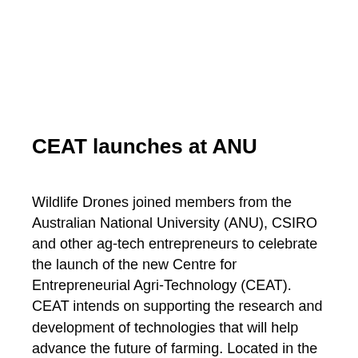CEAT launches at ANU
Wildlife Drones joined members from the Australian National University (ANU), CSIRO and other ag-tech entrepreneurs to celebrate the launch of the new Centre for Entrepreneurial Agri-Technology (CEAT). CEAT intends on supporting the research and development of technologies that will help advance the future of farming. Located in the heart of ANU's science hub, it intends on facilitating